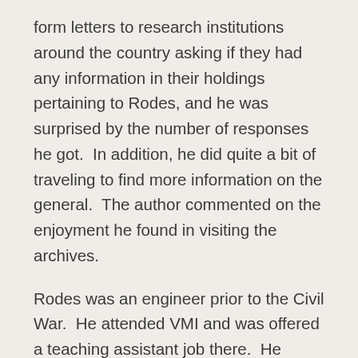form letters to research institutions around the country asking if they had any information in their holdings pertaining to Rodes, and he was surprised by the number of responses he got.  In addition, he did quite a bit of traveling to find more information on the general.  The author commented on the enjoyment he found in visiting the archives.
Rodes was an engineer prior to the Civil War.  He attended VMI and was offered a teaching assistant job there.  He wanted to become a professor, but Stonewall Jackson eventually won the position at Rodes' expense.  Interestingly, he received a position at VMI...for the fall of 1861.  Obviously he never filled that position.
At the beginning of the war, Rodes was elected Captain of an Alabama company, and was eventually elected Colonel of the 5th Alabama.  After First Manassas, Rodes